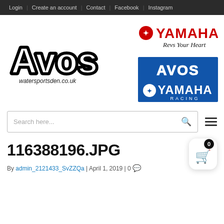Login | Create an account | Contact | Facebook | Instagram
[Figure (logo): Avos watersportsden.co.uk logo — bold black and white bubble text]
[Figure (logo): Yamaha Revs Your Heart logo — red and black]
[Figure (logo): Avos Yamaha Racing logo — blue and white rectangular badge]
Search here...
116388196.JPG
By admin_2121433_SvZZQa | April 1, 2019 | 0